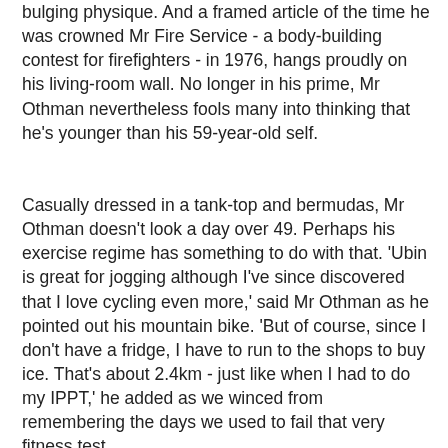bulging physique. And a framed article of the time he was crowned Mr Fire Service - a body-building contest for firefighters - in 1976, hangs proudly on his living-room wall. No longer in his prime, Mr Othman nevertheless fools many into thinking that he's younger than his 59-year-old self.
Casually dressed in a tank-top and bermudas, Mr Othman doesn't look a day over 49. Perhaps his exercise regime has something to do with that. 'Ubin is great for jogging although I've since discovered that I love cycling even more,' said Mr Othman as he pointed out his mountain bike. 'But of course, since I don't have a fridge, I have to run to the shops to buy ice. That's about 2.4km - just like when I had to do my IPPT,' he added as we winced from remembering the days we used to fail that very fitness test.
--------------------------------------------------------------------------------
MY BACK-TO-BASICS HOUSE
HIS kampung house is not a mansion (it's as big as a three-room HDB flat) and the compound leaves much to be desired (discarded appliances and rubbish are piled up not too far away). City slickers will no doubt complain about